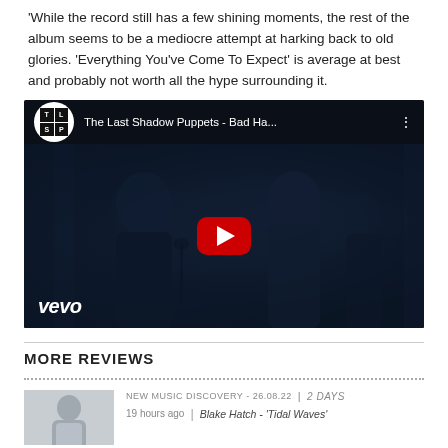'While the record still has a few shining moments, the rest of the album seems to be a mediocre attempt at harking back to old glories. 'Everything You've Come To Expect' is average at best and probably not worth all the hype surrounding it.
[Figure (screenshot): YouTube video embed showing The Last Shadow Puppets - Bad Ha... with TLSP logo, vevo watermark, and red play button over a black-and-white concert still]
MORE REVIEWS
[Figure (photo): Thumbnail image of a man in a light-colored shirt]
NEW MUSIC DISCOVERY - 26.08.22 | 2 days  19 hours ago | Blake Hatch - 'Tidal Waves'